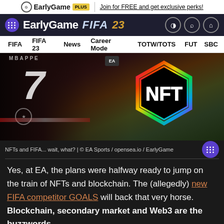EarlyGame PLUS | Join for FREE and get exclusive perks!
[Figure (screenshot): EarlyGame FIFA 23 website navigation bar with logo, FIFA 23 branding, and icon buttons]
FIFA | FIFA 23 | News | Career Mode | TOTW/TOTS | FUT | SBC
[Figure (photo): Hero image showing a FIFA 23 player wearing jersey number 7 with an NFT hexagonal logo badge overlaid]
NFTs and FIFA... wait, what? | © EA Sports / opensea.io / EarlyGame
Yes, at EA, the plans were halfway ready to jump on the train of NFTs and blockchain. The (allegedly) new FIFA competitor GOALS will back that very horse. Blockchain, secondary market and Web3 are the buzzwords.